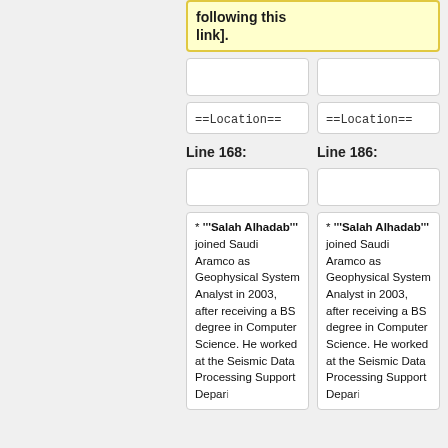following this link].
==Location==
==Location==
Line 168:
Line 186:
* '''Salah Alhadab''' joined Saudi Aramco as Geophysical System Analyst in 2003, after receiving a BS degree in Computer Science. He worked at the Seismic Data Processing Support Department
* '''Salah Alhadab''' joined Saudi Aramco as Geophysical System Analyst in 2003, after receiving a BS degree in Computer Science. He worked at the Seismic Data Processing Support Department